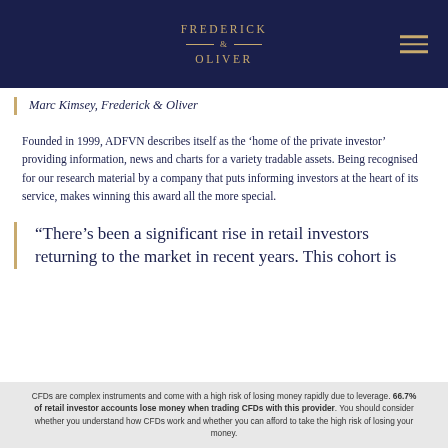Frederick & Oliver
Marc Kimsey, Frederick & Oliver
Founded in 1999, ADFVN describes itself as the ‘home of the private investor’ providing information, news and charts for a variety tradable assets. Being recognised for our research material by a company that puts informing investors at the heart of its service, makes winning this award all the more special.
“There’s been a significant rise in retail investors returning to the market in recent years. This cohort is
CFDs are complex instruments and come with a high risk of losing money rapidly due to leverage. 66.7% of retail investor accounts lose money when trading CFDs with this provider. You should consider whether you understand how CFDs work and whether you can afford to take the high risk of losing your money.